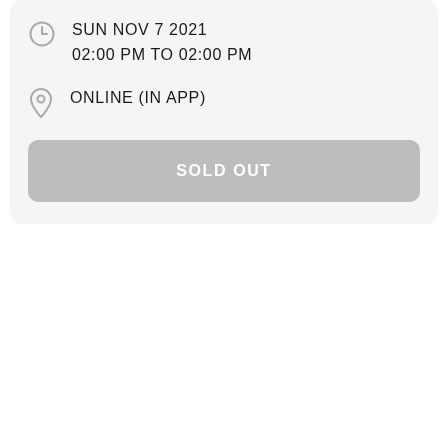SUN NOV 7 2021
02:00 PM TO 02:00 PM
ONLINE (IN APP)
SOLD OUT